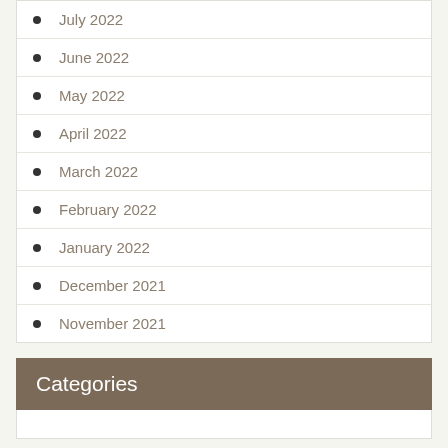July 2022
June 2022
May 2022
April 2022
March 2022
February 2022
January 2022
December 2021
November 2021
Categories